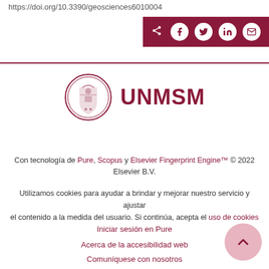https://doi.org/10.3390/geosciences6010004
[Figure (other): Social share bar with icons for share, Facebook, Twitter, LinkedIn, and email on dark red background]
[Figure (logo): UNMSM university logo with crest and bold text UNMSM in dark red]
Con tecnología de Pure, Scopus y Elsevier Fingerprint Engine™ © 2022 Elsevier B.V.
Utilizamos cookies para ayudar a brindar y mejorar nuestro servicio y ajustar el contenido a la medida del usuario. Si continúa, acepta el uso de cookies
Iniciar sesión en Pure
Acerca de la accesibilidad web
Comuníquese con nosotros